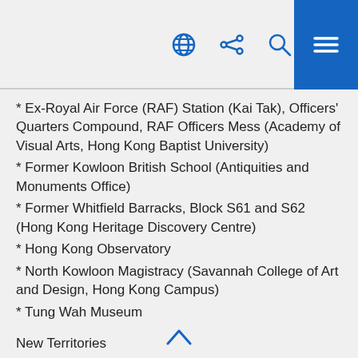navigation bar with globe, share, search icons and blue menu button
* Ex-Royal Air Force (RAF) Station (Kai Tak), Officers' Quarters Compound, RAF Officers Mess (Academy of Visual Arts, Hong Kong Baptist University)
* Former Kowloon British School (Antiquities and Monuments Office)
* Former Whitfield Barracks, Block S61 and S62 (Hong Kong Heritage Discovery Centre)
* Hong Kong Observatory
* North Kowloon Magistracy (Savannah College of Art and Design, Hong Kong Campus)
* Tung Wah Museum
New Territories